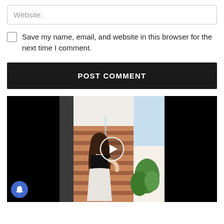Website:
Save my name, email, and website in this browser for the next time I comment.
POST COMMENT
[Figure (photo): Video player showing a woman with curly hair standing on orange stairs in a white interior, wearing a black crop top and white skirt. A play button overlay is centered on the video. Black bars on left and right. A blue notification bell button is visible at bottom left.]